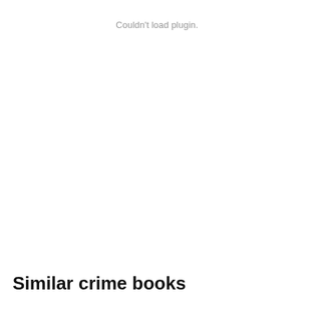Couldn't load plugin.
Similar crime books